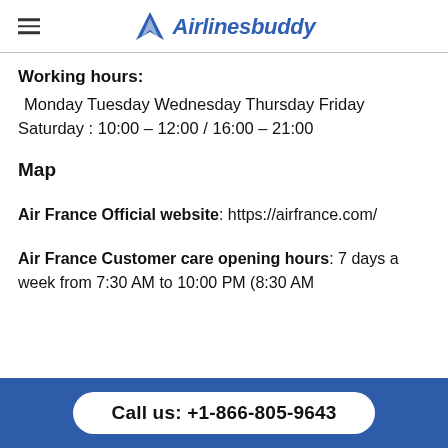Airlinesbuddy
Working hours:
Monday Tuesday Wednesday Thursday Friday Saturday : 10:00 – 12:00 / 16:00 – 21:00
Map
Air France Official website: https://airfrance.com/
Air France Customer care opening hours: 7 days a week from 7:30 AM to 10:00 PM (8:30 AM
Call us: +1-866-805-9643